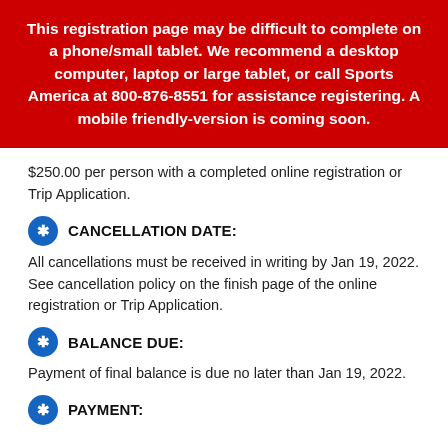This registration page may be difficult to complete on a phone/small tablet. We recommend a desktop computer, laptop or large tablet, or call Sports America at 800-876-8551 for assistance registering. A mobile friendly-version is coming soon.
$250.00 per person with a completed online registration or Trip Application.
CANCELLATION DATE:
All cancellations must be received in writing by Jan 19, 2022. See cancellation policy on the finish page of the online registration or Trip Application.
BALANCE DUE:
Payment of final balance is due no later than Jan 19, 2022.
PAYMENT: